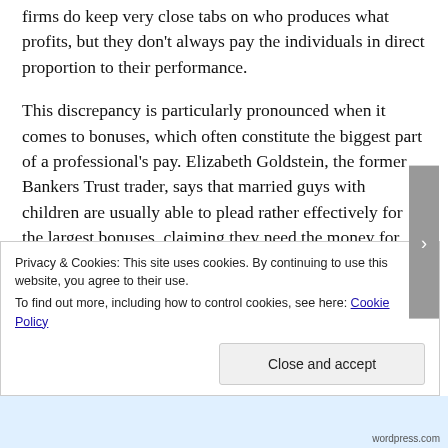firms do keep very close tabs on who produces what profits, but they don't always pay the individuals in direct proportion to their performance.
This discrepancy is particularly pronounced when it comes to bonuses, which often constitute the biggest part of a professional's pay. Elizabeth Goldstein, the former Bankers Trust trader, says that married guys with children are usually able to plead rather effectively for the largest bonuses, claiming they need the money for things like private-school tuition.
Their supervisors – often family men with financial burdens – empathize with them and pay up. Single women and gay
Privacy & Cookies: This site uses cookies. By continuing to use this website, you agree to their use.
To find out more, including how to control cookies, see here: Cookie Policy